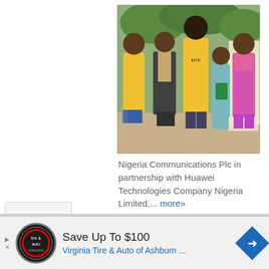[Figure (photo): Group photo of five people outdoors: a woman in yellow, a man in a suit, a tall man in a yellow t-shirt, a young girl holding a device, and a woman in pink/floral.]
Nigeria Communications Plc in partnership with Huawei Technologies Company Nigeria Limited,... more»
President Buhari celebrates Chief Akintola Williams at 103
Save Up To $100
Virginia Tire & Auto of Ashburn ...